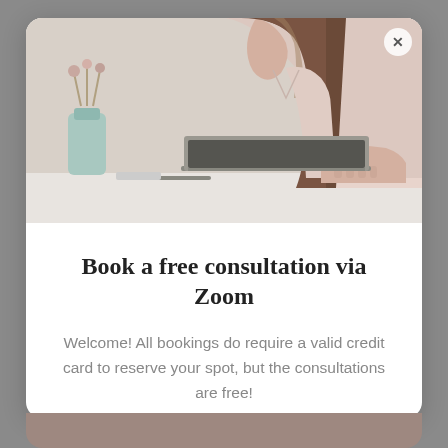[Figure (photo): A woman with long brown hair wearing a light pink blouse, sitting at a desk and typing on a laptop. A teal vase with dried flowers is visible in the background.]
Book a free consultation via Zoom
Welcome! All bookings do require a valid credit card to reserve your spot, but the consultations are free!